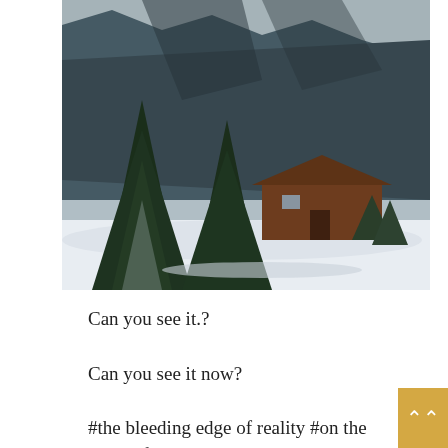[Figure (photo): Winter landscape photo showing snow-covered ground, large evergreen pine trees in the foreground, a red/brown log cabin or barn structure in the middle ground, and a mountain with light snow dusting in the background under an overcast sky.]
Can you see it.?
Can you see it now?
#the bleeding edge of reality #on the paths of the dead #to King Solomon's